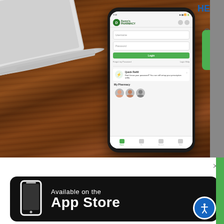[Figure (photo): A smartphone showing the Duron's pharmacy app login screen, placed on a wooden table next to a laptop. The phone screen shows username/password fields, a green login button, Quick Refill option, My Pharmacy section, and bottom navigation bar.]
[Figure (logo): Available on the App Store banner — black rounded rectangle with white phone icon and white text reading 'Available on the' and 'App Store' in bold, with blue accessibility icon overlay at bottom right.]